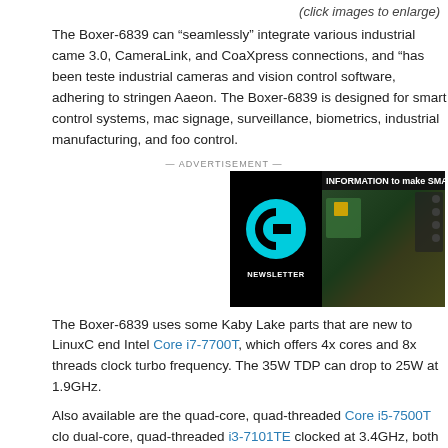(click images to enlarge)
The Boxer-6839 can “seamlessly” integrate various industrial came 3.0, CameraLink, and CoaXpress connections, and “has been teste industrial cameras and vision control software, adhering to stringen Aaeon. The Boxer-6839 is designed for smart control systems, mac signage, surveillance, biometrics, industrial manufacturing, and foo control.
— ADVERTISEMENT —
[Figure (other): Newsletter advertisement banner showing a cyan letter C logo on black background with text INFORMATION to make SMA... and NEWSLETTER label, alongside images of electronics and tech products.]
The Boxer-6839 uses some Kaby Lake parts that are new to LinuxC end Intel Core i7-7700T, which offers 4x cores and 8x threads clock turbo frequency. The 35W TDP can drop to 25W at 1.9GHz.
Also available are the quad-core, quad-threaded Core i5-7500T clo dual-core, quad-threaded i3-7101TE clocked at 3.4GHz, both with